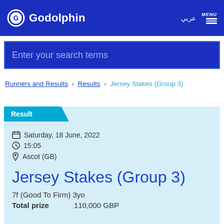Godolphin
Enter your search terms
Runners and Results › Results › Jersey Stakes (Group 3)
Result
Saturday, 18 June, 2022
15:05
Ascot (GB)
Jersey Stakes (Group 3)
7f (Good To Firm) 3yo
Total prize   110,000 GBP